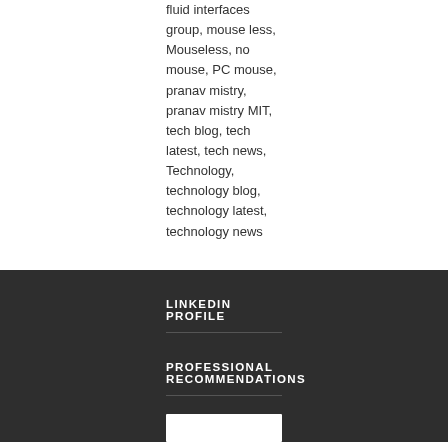fluid interfaces group, mouse less, Mouseless, no mouse, PC mouse, pranav mistry, pranav mistry MIT, tech blog, tech latest, tech news, Technology, technology blog, technology latest, technology news
LINKEDIN PROFILE
PROFESSIONAL RECOMMENDATIONS